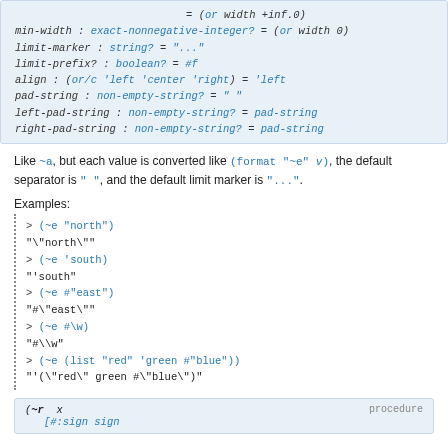[Figure (screenshot): Code block showing function parameters: = (or width +inf.0), min-width, limit-marker, limit-prefix?, align, pad-string, left-pad-string, right-pad-string]
Like ~a, but each value is converted like (format "~e" v), the default separator is " ", and the default limit marker is "...".
Examples:
[Figure (screenshot): REPL examples showing (~e "north"), "\"north\"", (~e 'south), "'south", (~e #"east"), "#\"east\"", (~e #\w), "#\\w", (~e (list "red" 'green #"blue")), "'(\"red\" green #\"blue\")"]
[Figure (screenshot): Bottom code box showing (~r x procedure and [#:sign sign]